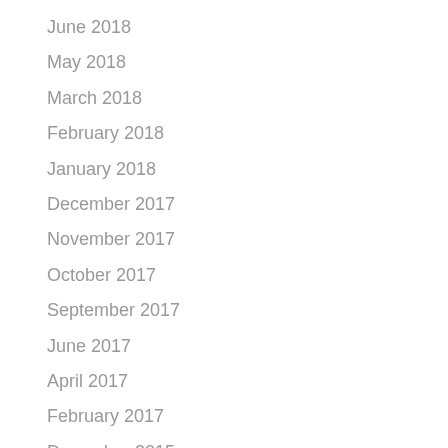June 2018
May 2018
March 2018
February 2018
January 2018
December 2017
November 2017
October 2017
September 2017
June 2017
April 2017
February 2017
December 2015